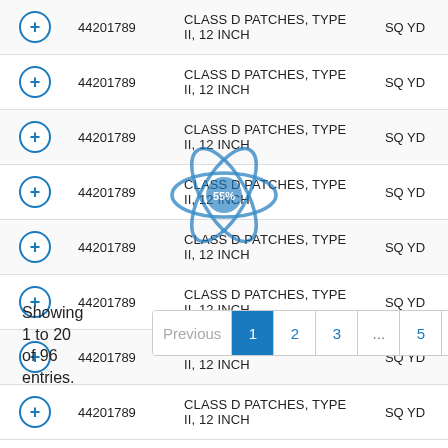|  | ID | Description | Unit |
| --- | --- | --- | --- |
| + | 44201789 | CLASS D PATCHES, TYPE II, 12 INCH | SQ YD |
| + | 44201789 | CLASS D PATCHES, TYPE II, 12 INCH | SQ YD |
| + | 44201789 | CLASS D PATCHES, TYPE II, 12 INCH | SQ YD |
| + | 44201789 | CLASS D PATCHES, TYPE II, 12 INCH | SQ YD |
| + | 44201789 | CLASS D PATCHES, TYPE II, 12 INCH | SQ YD |
| + | 44201789 | CLASS D PATCHES, TYPE II, 12 INCH | SQ YD |
| + | 44201789 | CLASS D PATCHES, TYPE II, 12 INCH | SQ YD |
| + | 44201789 | CLASS D PATCHES, TYPE II, 12 INCH | SQ YD |
Showing 1 to 20 of 96 entries.
[Figure (other): Circular watermark/logo overlay in blue, decorative React-like atom icon with text '55%']